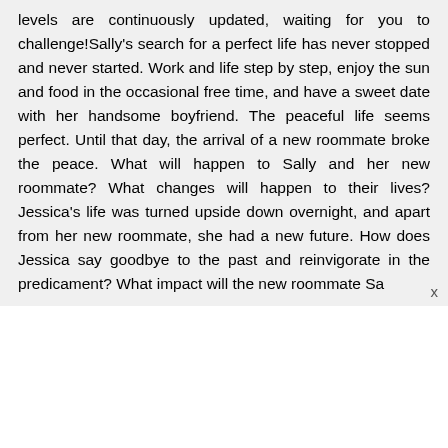levels are continuously updated, waiting for you to challenge!Sally's search for a perfect life has never stopped and never started. Work and life step by step, enjoy the sun and food in the occasional free time, and have a sweet date with her handsome boyfriend. The peaceful life seems perfect. Until that day, the arrival of a new roommate broke the peace. What will happen to Sally and her new roommate? What changes will happen to their lives? Jessica's life was turned upside down overnight, and apart from her new roommate, she had a new future. How does Jessica say goodbye to the past and reinvigorate in the predicament? What impact will the new roommate Sa x